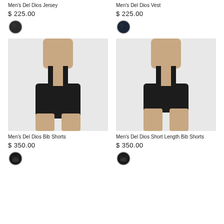Men's Del Dios Jersey
$ 225.00
[Figure (photo): Black color swatch circle for Men's Del Dios Jersey]
Men's Del Dios Vest
$ 225.00
[Figure (photo): Dark navy color swatch circle for Men's Del Dios Vest]
[Figure (photo): Man wearing black cycling bib shorts with suspenders - Men's Del Dios Bib Shorts]
[Figure (photo): Man wearing black cycling short length bib shorts with suspenders - Men's Del Dios Short Length Bib Shorts]
Men's Del Dios Bib Shorts
$ 350.00
[Figure (photo): Black bib shorts color swatch thumbnail]
Men's Del Dios Short Length Bib Shorts
$ 350.00
[Figure (photo): Black short length bib shorts color swatch thumbnail]